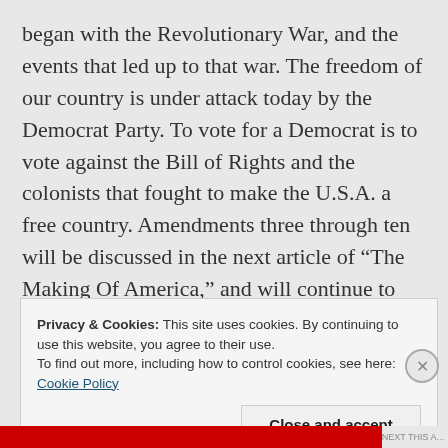began with the Revolutionary War, and the events that led up to that war. The freedom of our country is under attack today by the Democrat Party. To vote for a Democrat is to vote against the Bill of Rights and the colonists that fought to make the U.S.A. a free country. Amendments three through ten will be discussed in the next article of “The Making Of America,” and will continue to show the attacks of Democrats on our Bill of Rights.
Privacy & Cookies: This site uses cookies. By continuing to use this website, you agree to their use.
To find out more, including how to control cookies, see here: Cookie Policy